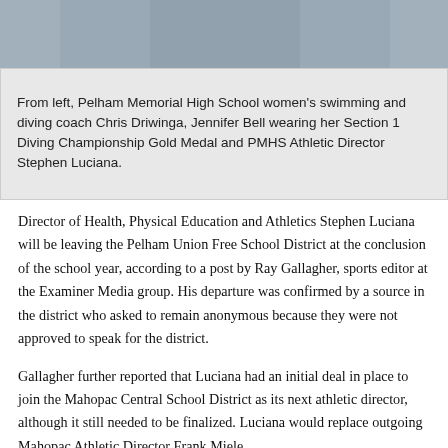[Figure (photo): Photograph of three people: from left, Pelham Memorial High School women's swimming and diving coach Chris Driwinga, Jennifer Bell wearing her Section 1 Diving Championship Gold Medal, and PMHS Athletic Director Stephen Luciana.]
From left, Pelham Memorial High School women's swimming and diving coach Chris Driwinga, Jennifer Bell wearing her Section 1 Diving Championship Gold Medal and PMHS Athletic Director Stephen Luciana.
Director of Health, Physical Education and Athletics Stephen Luciana will be leaving the Pelham Union Free School District at the conclusion of the school year, according to a post by Ray Gallagher, sports editor at the Examiner Media group. His departure was confirmed by a source in the district who asked to remain anonymous because they were not approved to speak for the district.
Gallagher further reported that Luciana had an initial deal in place to join the Mahopac Central School District as its next athletic director, although it still needed to be finalized. Luciana would replace outgoing Mahopac Athletic Director Frank Miele.
Luciana joined the Pelham district in 2013, following time with Yo Public Schools. During his tenure, Pelham has enjoyed significant